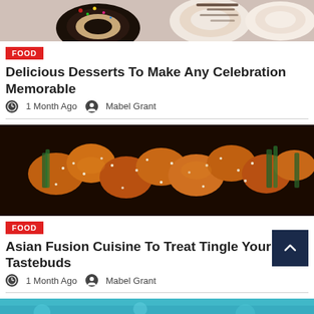[Figure (photo): Chocolate frosted donuts with sprinkles, partially cut off at top of page]
FOOD
Delicious Desserts To Make Any Celebration Memorable
1 Month Ago  Mabel Grant
[Figure (photo): Asian fusion glazed chicken with sesame seeds and green onions]
FOOD
Asian Fusion Cuisine To Treat Tingle Your Tastebuds
1 Month Ago  Mabel Grant
[Figure (photo): Bottom of page partially visible image with teal/blue color]